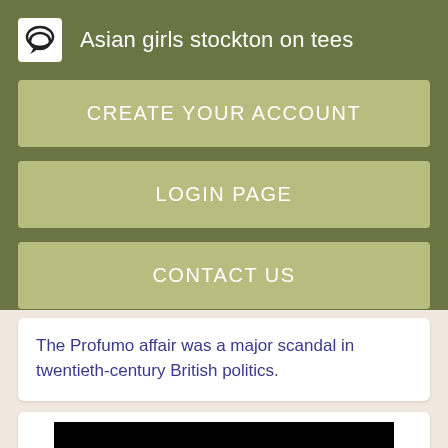Asian girls stockton on tees
CREATE YOUR ACCOUNT
LOGIN PAGE
CONTACT US
The Profumo affair was a major scandal in twentieth-century British politics.
[Figure (photo): Black rectangle image, partially visible at bottom of page]